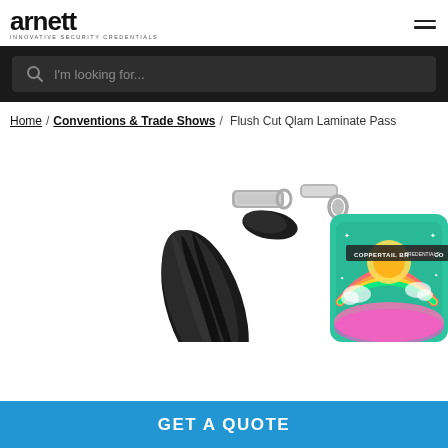arnett INNOVATIVE SECURITY CREDENTIALS
I'm looking for...
Home / Conventions & Trade Shows / Flush Cut Qlam Laminate Pass
[Figure (photo): Photo of a black lanyard with a metal clip attached to a colorful teal laminate badge/pass with Coppertail Brewing Co. branding on it, shown close-up on a white background.]
GET A QUOTE